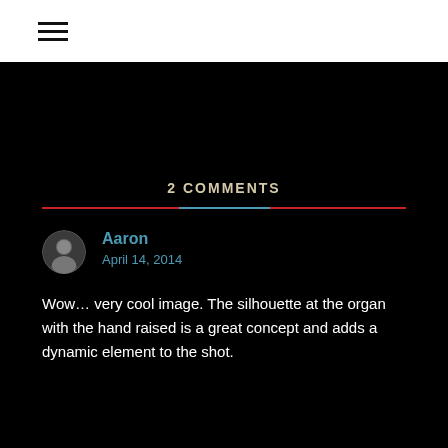≡
2 COMMENTS
Aaron
April 14, 2014
Wow… very cool image. The silhouette at the organ with the hand raised is a great concept and adds a dynamic element to the shot.